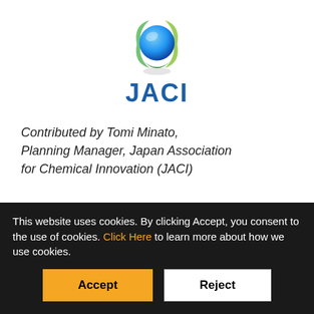[Figure (logo): JACI globe logo with blue sphere and green/yellow swirl, with 'JACI' text in blue below]
Contributed by Tomi Minato, Planning Manager, Japan Association for Chemical Innovation (JACI)
The Japan Association for Chemical Innovation is a public interest incorporated association with members from the chemical industry, consumer products industry.
This website uses cookies. By clicking Accept, you consent to the use of cookies. Click Here to learn more about how we use cookies.